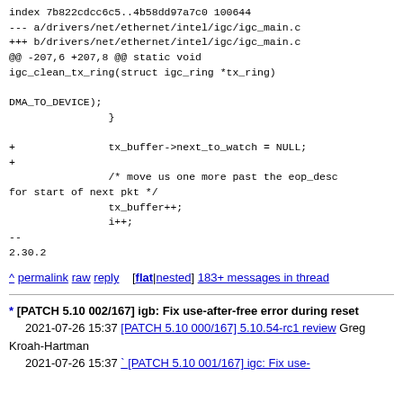index 7b822cdcc6c5..4b58dd97a7c0 100644
--- a/drivers/net/ethernet/intel/igc/igc_main.c
+++ b/drivers/net/ethernet/intel/igc/igc_main.c
@@ -207,6 +207,8 @@ static void igc_clean_tx_ring(struct igc_ring *tx_ring)

DMA_TO_DEVICE);
                }

+               tx_buffer->next_to_watch = NULL;
+
                /* move us one more past the eop_desc for start of next pkt */
                tx_buffer++;
                i++;
--
2.30.2
^ permalink raw reply   [flat|nested] 183+ messages in thread
* [PATCH 5.10 002/167] igb: Fix use-after-free error during reset
  2021-07-26 15:37 [PATCH 5.10 000/167] 5.10.54-rc1 review Greg Kroah-Hartman
  2021-07-26 15:37 ` [PATCH 5.10 001/167] igc: Fix use-